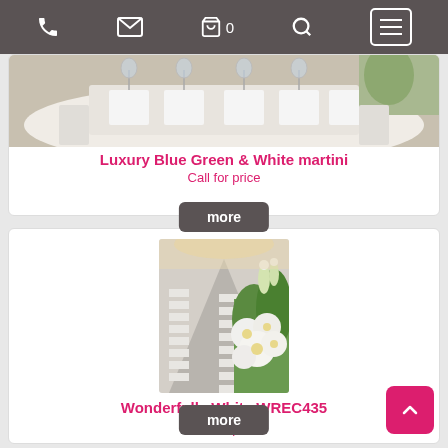navigation bar with phone, email, cart (0), search, and menu icons
[Figure (photo): Wedding reception table with white linens, glassware, and place settings]
Luxury Blue Green & White martini
Call for price
more
[Figure (photo): Wedding ceremony aisle with white chairs and large floral arrangement of white flowers]
Wonderfully White WREC435
Call for price
more